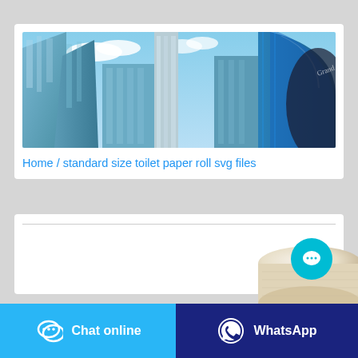[Figure (photo): Upward-angle photo of modern glass skyscrapers against a blue sky with clouds]
Home / standard size toilet paper roll svg files
[Figure (photo): Partial view of a toilet paper roll on the right side]
Chat online
WhatsApp